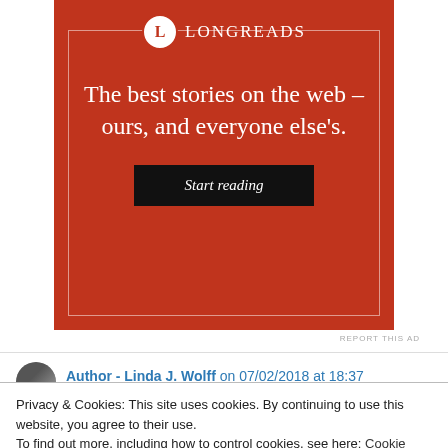[Figure (illustration): Longreads advertisement on a red background. Features the Longreads logo (circle with L) and text: 'The best stories on the web – ours, and everyone else's.' with a 'Start reading' button.]
REPORT THIS AD
Author - Linda J. Wolff on 07/02/2018 at 18:37
Privacy & Cookies: This site uses cookies. By continuing to use this website, you agree to their use.
To find out more, including how to control cookies, see here: Cookie Policy
Close and accept
Log in to Reply